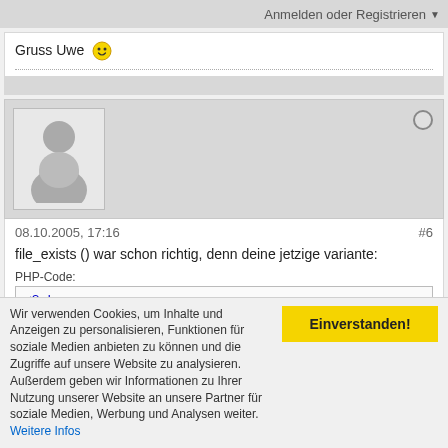Anmelden oder Registrieren ▼
Gruss Uwe 😁
[Figure (other): User avatar placeholder with silhouette of a person]
08.10.2005, 17:16	#6
file_exists () war schon richtig, denn deine jetzige variante:
PHP-Code:
<?php
$images = "[img]http -->pfad zum Verzeichniss/images[/im
Wir verwenden Cookies, um Inhalte und Anzeigen zu personalisieren, Funktionen für soziale Medien anbieten zu können und die Zugriffe auf unsere Website zu analysieren. Außerdem geben wir Informationen zu Ihrer Nutzung unserer Website an unsere Partner für soziale Medien, Werbung und Analysen weiter. Weitere Infos